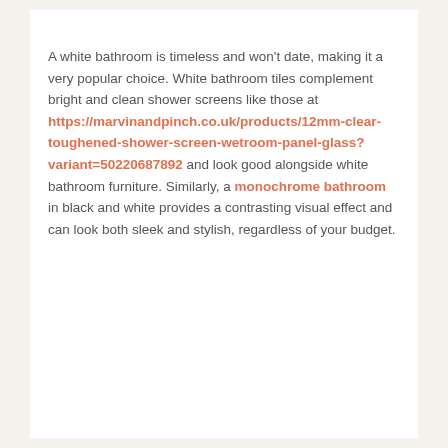A white bathroom is timeless and won't date, making it a very popular choice. White bathroom tiles complement bright and clean shower screens like those at https://marvinandpinch.co.uk/products/12mm-clear-toughened-shower-screen-wetroom-panel-glass?variant=50220687892 and look good alongside white bathroom furniture. Similarly, a monochrome bathroom in black and white provides a contrasting visual effect and can look both sleek and stylish, regardless of your budget.